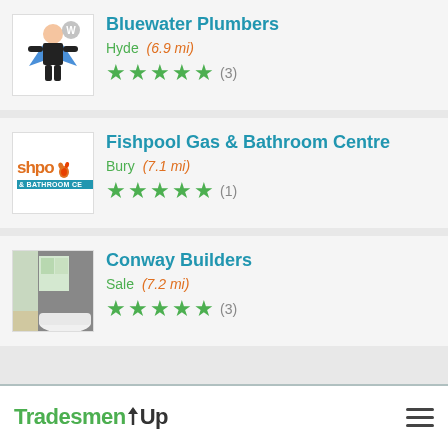[Figure (other): Bluewater Plumbers logo - cartoon superhero plumber]
Bluewater Plumbers
Hyde  (6.9 mi)
★★★★★ (3)
[Figure (logo): Fishpool Gas & Bathroom Centre logo with flame icon and blue banner]
Fishpool Gas & Bathroom Centre
Bury  (7.1 mi)
★★★★★ (1)
[Figure (photo): Bathroom interior photo showing a bathtub and shower area]
Conway Builders
Sale  (7.2 mi)
★★★★★ (3)
TradesmenUp  [hamburger menu]